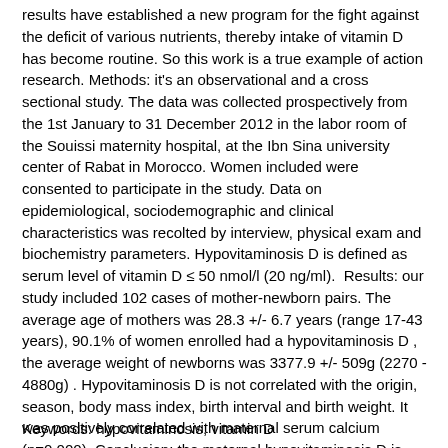results have established a new program for the fight against the deficit of various nutrients, thereby intake of vitamin D has become routine. So this work is a true example of action research. Methods: it's an observational and a cross sectional study. The data was collected prospectively from the 1st January to 31 December 2012 in the labor room of the Souissi maternity hospital, at the Ibn Sina university center of Rabat in Morocco. Women included were consented to participate in the study. Data on epidemiological, sociodemographic and clinical characteristics was recolted by interview, physical exam and biochemistry parameters. Hypovitaminosis D is defined as serum level of vitamin D ≤ 50 nmol/l (20 ng/ml).  Results: our study included 102 cases of mother-newborn pairs. The average age of mothers was 28.3 +/- 6.7 years (range 17-43 years), 90.1% of women enrolled had a hypovitaminosis D , the average weight of newborns was 3377.9 +/- 509g (2270 - 4880g) . Hypovitaminosis D is not correlated with the origin, season, body mass index, birth interval and birth weight. It was positively correlated with maternal serum calcium (p=0.000). Conclusion: the maternal hypovitaminosis D is real public health problem. The prevention is necessary, by the systematic vitamin D supplementation for pregnant women.
Keywords: hypovitaminosis, vitamin D